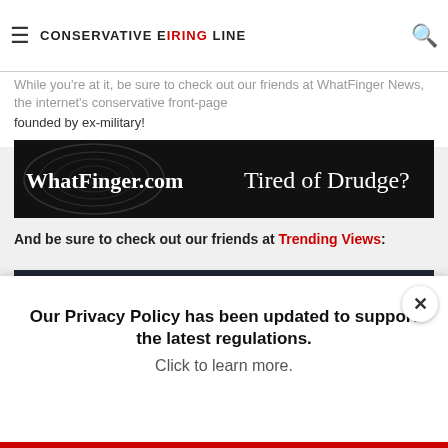CONSERVATIVE FIRING LINE
While you're at it, be sure to check out our friends at WhatFinger News, the internet's conservative front-page founded by ex-military!
[Figure (screenshot): WhatFinger.com banner ad: black background with swirl pattern, white text 'WhatFinger.com  Tired of Drudge?']
And be sure to check out our friends at Trending Views:
[Figure (logo): Trending Views banner: dark navy background, green network logo icon, large white text 'TRENDING VIEWS' in green and white, tagline 'YOUR TRENDS, YOUR WAY']
Our Privacy Policy has been updated to support the latest regulations. Click to learn more.